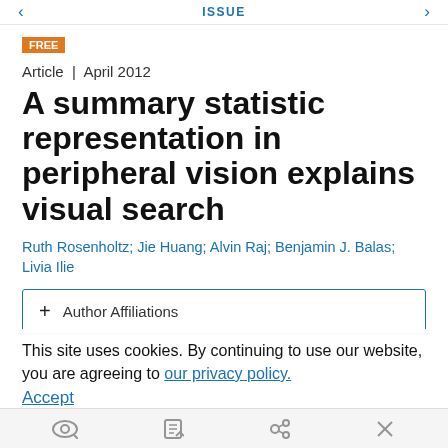< ISSUE >
FREE
Article  |  April 2012
A summary statistic representation in peripheral vision explains visual search
Ruth Rosenholtz; Jie Huang; Alvin Raj; Benjamin J. Balas; Livia Ilie
+ Author Affiliations
This site uses cookies. By continuing to use our website, you are agreeing to our privacy policy. Accept